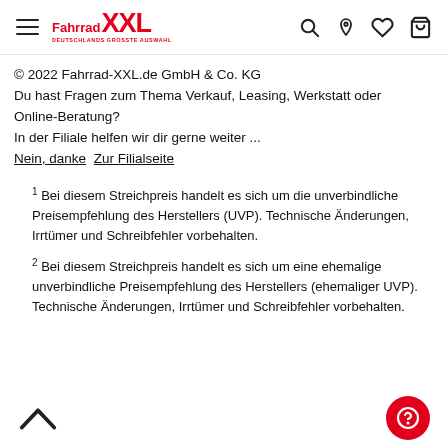Fahrrad XXL – DEUTSCHLANDS GRÖSSTE AUSWAHL
© 2022 Fahrrad-XXL.de GmbH & Co. KG
Du hast Fragen zum Thema Verkauf, Leasing, Werkstatt oder Online-Beratung?
In der Filiale helfen wir dir gerne weiter ...
Nein, danke  Zur Filialseite
¹ Bei diesem Streichpreis handelt es sich um die unverbindliche Preisempfehlung des Herstellers (UVP). Technische Änderungen, Irrtümer und Schreibfehler vorbehalten.
² Bei diesem Streichpreis handelt es sich um eine ehemalige unverbindliche Preisempfehlung des Herstellers (ehemaliger UVP). Technische Änderungen, Irrtümer und Schreibfehler vorbehalten.